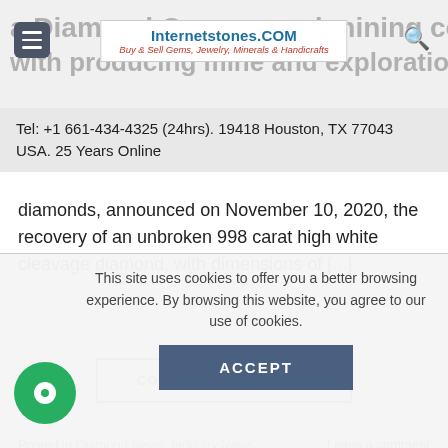Internetstones.COM — Buy & Sell Gems, Jewelry, Minerals & Handicrafts
Tel: +1 661-434-4325 (24hrs). 19418 Houston, TX 77043 USA. 25 Years Online
diamonds, announced on November 10, 2020, the recovery of an unbroken 998 carat high white cleavage diamond, with dimensions of [...]
CONTINUE READING →
Posted in Diamond News, Industry News   Leave a comment
This site uses cookies to offer you a better browsing experience. By browsing this website, you agree to our use of cookies.
ACCEPT